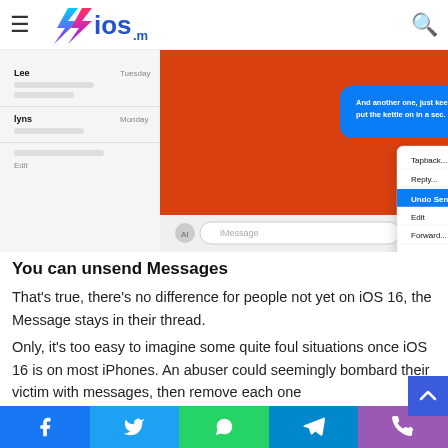ios.ma — navigation header with hamburger menu and search icon
variations from your conversation, and you get a stand notice — the recipient may still be able to see it if they on an older device that hasn't updated yet.
[Figure (screenshot): Screenshot of iOS Messages app on Mac showing a context menu with options: Tapback..., Reply..., Undo Send (highlighted in blue), Edit, Forward..., Copy, Delete..., Show Times. A message bubble reads 'And another one, just keep ignoring me, I'll put the kettle on in a sec.']
You can unsend Messages
That's true, there's no difference for people not yet on iOS 16, the Message stays in their thread.
Only, it's too easy to imagine some quite foul situations once iOS 16 is on most iPhones. An abuser could seemingly bombard their victim with messages, then remove each one
Social share buttons: Facebook, Twitter, WhatsApp, Telegram, Phone